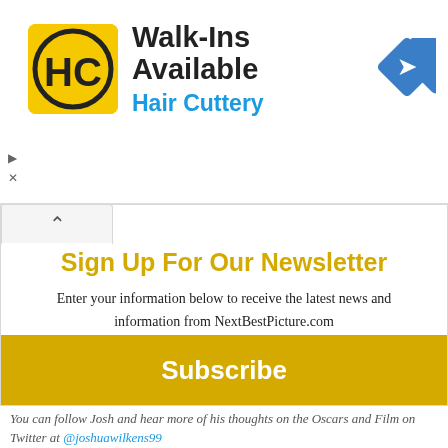[Figure (logo): Hair Cuttery advertisement banner with HC logo, 'Walk-Ins Available' headline, 'Hair Cuttery' subtitle in blue, and a blue navigation arrow icon on the right.]
Sign Up For Our Newsletter
Enter your information below to receive the latest news and information from NextBestPicture.com
Subscribe
You can follow Josh and hear more of his thoughts on the Oscars and Film on Twitter at @joshuawilkens99